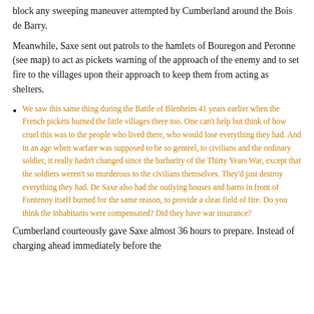block any sweeping maneuver attempted by Cumberland around the Bois de Barry.
Meanwhile, Saxe sent out patrols to the hamlets of Bouregon and Peronne (see map) to act as pickets warning of the approach of the enemy and to set fire to the villages upon their approach to keep them from acting as shelters.
We saw this same thing during the Battle of Blenheim 41 years earlier when the French pickets burned the little villages there too. One can't help but think of how cruel this was to the people who lived there, who would lose everything they had. And in an age when warfare was supposed to be so genteel, to civilians and the ordinary soldier, it really hadn't changed since the barbarity of the Thirty Years War, except that the soldiers weren't so murderous to the civilians themselves. They'd just destroy everything they had. De Saxe also had the outlying houses and barns in front of Fontenoy itself burned for the same reason, to provide a clear field of fire. Do you think the inhabitants were compensated? Did they have war insurance?
Cumberland courteously gave Saxe almost 36 hours to prepare. Instead of charging ahead immediately before the